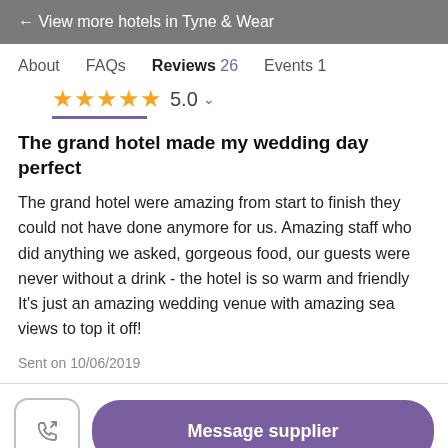← View more hotels in Tyne & Wear
About   FAQs   Reviews 26   Events 1
[Figure (other): 5-star rating display showing 4 gold stars and one partial, score 5.0 with dropdown arrow and purple underline bar]
The grand hotel made my wedding day perfect
The grand hotel were amazing from start to finish they could not have done anymore for us. Amazing staff who did anything we asked, gorgeous food, our guests were never without a drink - the hotel is so warm and friendly It's just an amazing wedding venue with amazing sea views to top it off!
Sent on 10/06/2019
Message supplier